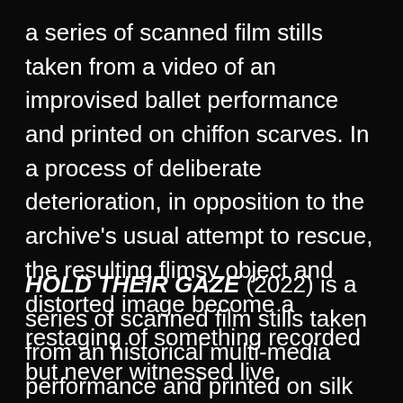a series of scanned film stills taken from a video of an improvised ballet performance and printed on chiffon scarves. In a process of deliberate deterioration, in opposition to the archive's usual attempt to rescue, the resulting flimsy object and distorted image become a restaging of something recorded but never witnessed live.
HOLD THEIR GAZE (2022) is a series of scanned film stills taken from an historical multi-media performance and printed on silk pocket squares. They draw out a